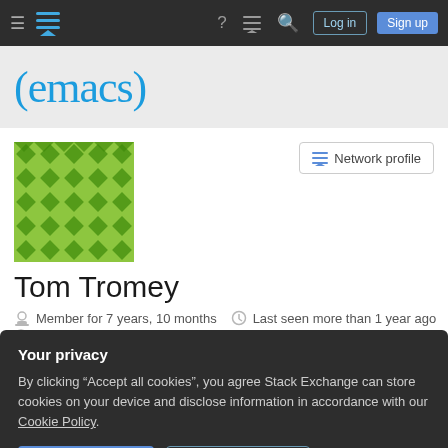Navigation bar with hamburger menu, Stack Exchange logo, help icon, chat icon, search icon, Log in button, Sign up button
[Figure (logo): Emacs Stack Exchange logo: (emacs) in teal/blue on grey banner]
[Figure (illustration): Green geometric avatar icon for user Tom Tromey]
[Figure (other): Network profile button with Stack Exchange icon]
Tom Tromey
Member for 7 years, 10 months   Last seen more than 1 year ago
tromey.com/blog
Your privacy
By clicking "Accept all cookies", you agree Stack Exchange can store cookies on your device and disclose information in accordance with our Cookie Policy.
Accept all cookies   Customize settings